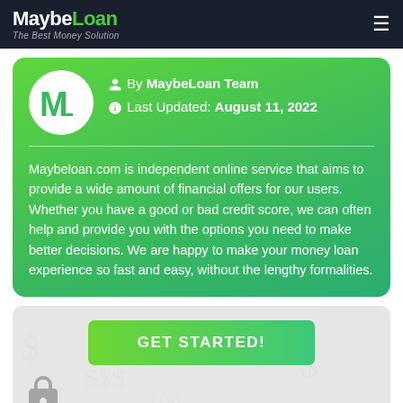MaybeLoan - The Best Money Solution
By MaybeLoan Team
Last Updated: August 11, 2022
Maybeloan.com is independent online service that aims to provide a wide amount of financial offers for our users. Whether you have a good or bad credit score, we can often help and provide you with the options you need to make better decisions. We are happy to make your money loan experience so fast and easy, without the lengthy formalities.
GET STARTED!